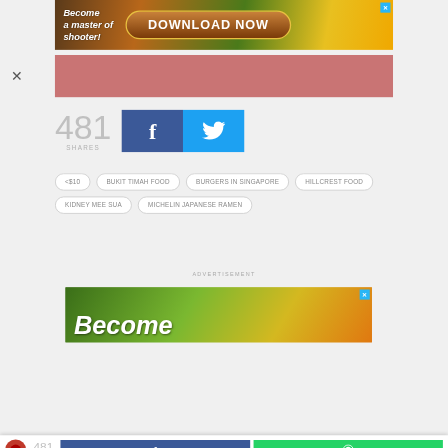[Figure (screenshot): Game advertisement banner showing 'Become a master of shooter!' text and 'DOWNLOAD NOW' button with game graphics. Close X button in top-right corner.]
[Figure (screenshot): Pink/rose colored advertisement banner bar]
481
SHARES
[Figure (screenshot): Social share buttons: Facebook (blue) and Twitter (light blue) icons]
<$10
BUKIT TIMAH FOOD
BURGERS IN SINGAPORE
HILLCREST FOOD
KIDNEY MEE SUA
MICHELIN JAPANESE RAMEN
ADVERTISEMENT
[Figure (screenshot): Game advertisement banner showing 'Become' text with game character graphics and close X button]
[Figure (screenshot): Bottom sticky bar with logo, 481 SHARES count, Facebook and WhatsApp share buttons]